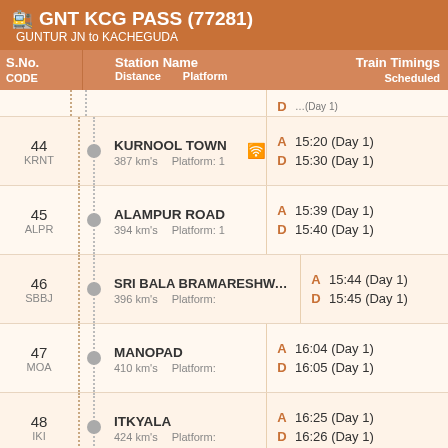GNT KCG PASS (77281)
GUNTUR JN to KACHEGUDA
| S.No. CODE | Station Name / Distance / Platform | Train Timings Scheduled |
| --- | --- | --- |
| 44 KRNT | KURNOOL TOWN / 387 km's / Platform: 1 | A 15:20 (Day 1) / D 15:30 (Day 1) |
| 45 ALPR | ALAMPUR ROAD / 394 km's / Platform: 1 | A 15:39 (Day 1) / D 15:40 (Day 1) |
| 46 SBBJ | SRI BALA BRAMARESHWARA... / 396 km's / Platform: | A 15:44 (Day 1) / D 15:45 (Day 1) |
| 47 MOA | MANOPAD / 410 km's / Platform: | A 16:04 (Day 1) / D 16:05 (Day 1) |
| 48 IKI | ITKYALA / 424 km's / Platform: | A 16:25 (Day 1) / D 16:26 (Day 1) |
| 49 PDNA | PEDDADINNE / 427 km's / Platform: | A 16:33 (Day 1) / D 16:34 (Day 1) |